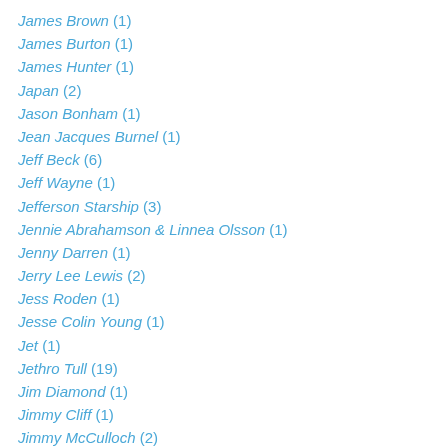James Brown (1)
James Burton (1)
James Hunter (1)
Japan (2)
Jason Bonham (1)
Jean Jacques Burnel (1)
Jeff Beck (6)
Jeff Wayne (1)
Jefferson Starship (3)
Jennie Abrahamson & Linnea Olsson (1)
Jenny Darren (1)
Jerry Lee Lewis (2)
Jess Roden (1)
Jesse Colin Young (1)
Jet (1)
Jethro Tull (19)
Jim Diamond (1)
Jimmy Cliff (1)
Jimmy McCulloch (2)
Jimmy Page (4)